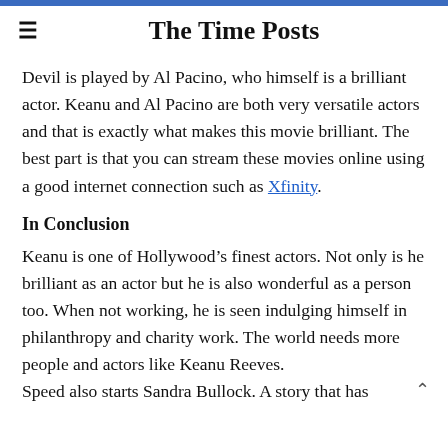The Time Posts
Devil is played by Al Pacino, who himself is a brilliant actor. Keanu and Al Pacino are both very versatile actors and that is exactly what makes this movie brilliant. The best part is that you can stream these movies online using a good internet connection such as Xfinity.
In Conclusion
Keanu is one of Hollywood’s finest actors. Not only is he brilliant as an actor but he is also wonderful as a person too. When not working, he is seen indulging himself in philanthropy and charity work. The world needs more people and actors like Keanu Reeves. Speed also starts Sandra Bullock. A story that has